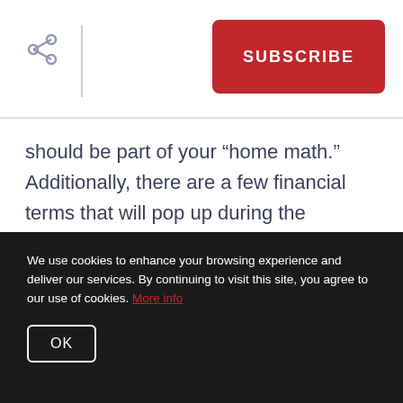SUBSCRIBE
should be part of your “home math.” Additionally, there are a few financial terms that will pop up during the process (especially as you receive offers) that are worth understanding so you can make the best decision for your situation.

To help get you up to speed on what you can expect, here are answers to the questions sellers ask most:
We use cookies to enhance your browsing experience and deliver our services. By continuing to visit this site, you agree to our use of cookies. More info

OK